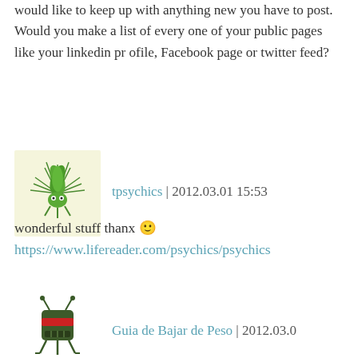would like to keep up with anything new you have to post. Would you make a list of every one of your public pages like your linkedin profile, Facebook page or twitter feed?
[Figure (illustration): Avatar icon: green spiky plant-like creature on light yellow background]
tpsychics | 2012.03.01 15:53
wonderful stuff thanx 🙂 https://www.lifereader.com/psychics/psychics
[Figure (illustration): Avatar icon: dark green robot/bug creature on white background]
Guia de Bajar de Peso | 2012.03.0